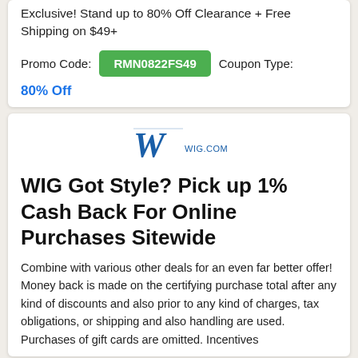Exclusive! Stand up to 80% Off Clearance + Free Shipping on $49+
Promo Code: RMN0822FS49  Coupon Type: 80% Off
[Figure (logo): Wig.com logo with stylized W in blue and script font]
WIG Got Style? Pick up 1% Cash Back For Online Purchases Sitewide
Combine with various other deals for an even far better offer! Money back is made on the certifying purchase total after any kind of discounts and also prior to any kind of charges, tax obligations, or shipping and also handling are used. Purchases of gift cards are omitted. Incentives